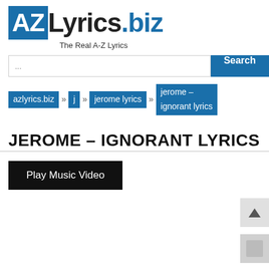[Figure (logo): AZLyrics.biz logo with tagline 'The Real A-Z Lyrics']
...
azlyrics.biz » j » jerome lyrics » jerome - ignorant lyrics
JEROME – IGNORANT LYRICS
Play Music Video